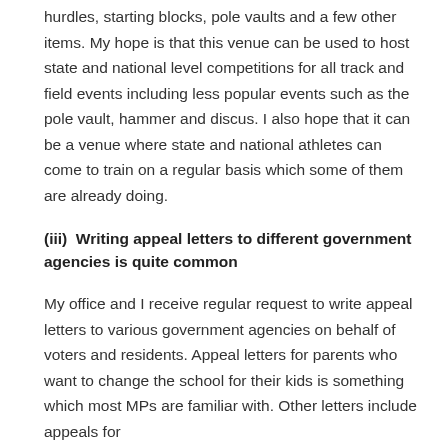hurdles, starting blocks, pole vaults and a few other items. My hope is that this venue can be used to host state and national level competitions for all track and field events including less popular events such as the pole vault, hammer and discus. I also hope that it can be a venue where state and national athletes can come to train on a regular basis which some of them are already doing.
(iii)  Writing appeal letters to different government agencies is quite common
My office and I receive regular request to write appeal letters to various government agencies on behalf of voters and residents. Appeal letters for parents who want to change the school for their kids is something which most MPs are familiar with. Other letters include appeals for